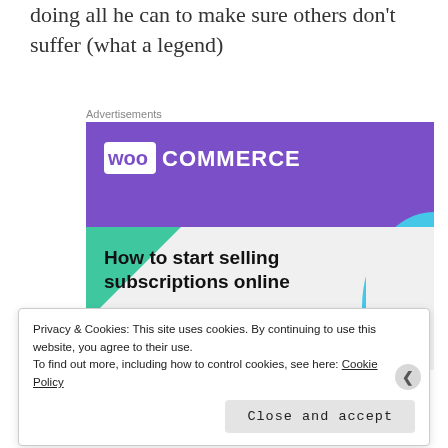doing all he can to make sure others don't suffer (what a legend)
Advertisements
[Figure (illustration): WooCommerce advertisement banner with purple header, teal triangle, blue arc, and text 'How to start selling subscriptions online' with a purple button below]
Privacy & Cookies: This site uses cookies. By continuing to use this website, you agree to their use.
To find out more, including how to control cookies, see here: Cookie Policy
Close and accept